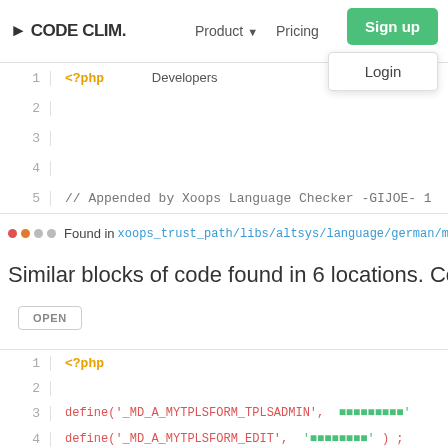CODE CLIM. | Product | Pricing | Sign up | Login
[Figure (screenshot): Code editor showing PHP code block, line 1: <?php, lines 2-4 empty, line 5: // Appended by Xoops Language Checker -GIJOE- 1. With 'Developers' text label at top.]
Found in xoops_trust_path/libs/altsys/language/german/mytplsform
Similar blocks of code found in 6 locations. Consider
[Figure (screenshot): Code editor showing PHP code block: line 1: <?php, line 2: empty, line 3: define('_MD_A_MYTPLSFORM_TPLSADMIN', '[blocks]'), line 4: define('_MD_A_MYTPLSFORM_EDIT', '[blocks]') ;, line 5: define('_MD_A_MYTPLSFORM_UPDATED', '[blocks]]